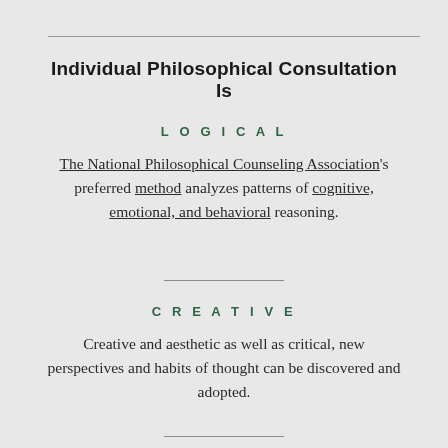Individual Philosophical Consultation Is
LOGICAL
The National Philosophical Counseling Association's preferred method analyzes patterns of cognitive, emotional, and behavioral reasoning.
CREATIVE
Creative and aesthetic as well as critical, new perspectives and habits of thought can be discovered and adopted.